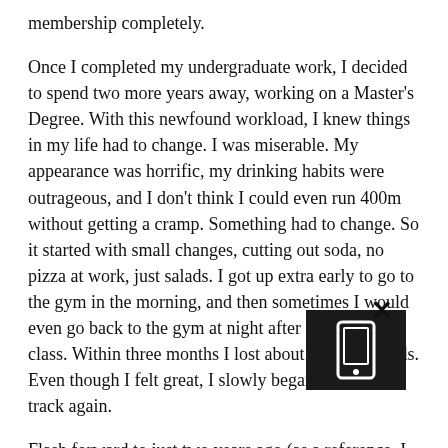membership completely.
Once I completed my undergraduate work, I decided to spend two more years away, working on a Master's Degree. With this newfound workload, I knew things in my life had to change. I was miserable. My appearance was horrific, my drinking habits were outrageous, and I don't think I could even run 400m without getting a cramp. Something had to change. So it started with small changes, cutting out soda, no pizza at work, just salads. I got up extra early to go to the gym in the morning, and then sometimes I would even go back to the gym at night after I got out of class. Within three months I lost about twenty pounds. Even though I felt great, I slowly began to fall off track again.
Flash forward to just two years ago (as a reference, I graduated grad school in 2012, so it was a few years in between). I weighed about 190lbs, I was starting to look better, feel more confident, but I knew I needed something to take me to the next level. It was that summer my brother, Brian, invited me to his first Crossfit competition to come cheer him on. At first I laughed at him and said no way, I do not want to be around shirtless, sweaty men, clanging barbells